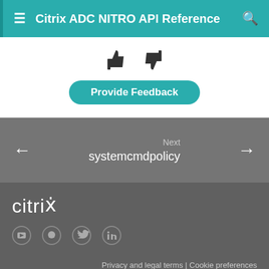Citrix ADC NITRO API Reference
[Figure (other): Thumbs up and thumbs down icons for feedback rating]
Provide Feedback
Next systemcmdpolicy
[Figure (logo): Citrix logo in white text on dark grey background]
[Figure (other): Social media icons: YouTube, GitHub, Twitter, LinkedIn]
Privacy and legal terms | Cookie preferences
© 1999-2020 Citrix Systems, Inc. All rights reserved.